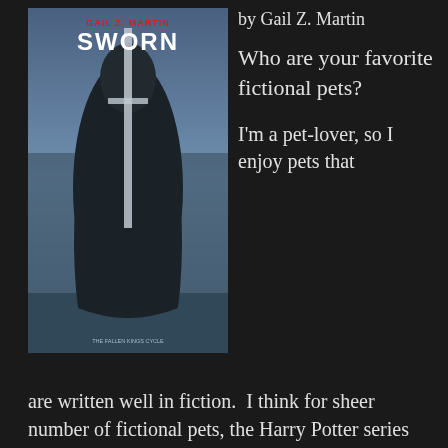[Figure (photo): Book cover of 'Sworn' by Gail Z. Martin, showing a dark-cloaked figure holding a sword, with a misty/icy background. The author's name 'GAIL Z. MARTIN' appears in red at top and 'SWORN' in large white letters below.]
by Gail Z. Martin
Who are your favorite fictional pets?
I'm a pet-lover, so I enjoy pets that are written well in fiction.  I think for sheer number of fictional pets, the Harry Potter series probably holds a record, with all of Hagrid's pets (Fang, Fluffy, Aragog, Buckbeak, and others) as well as Scabbers, Crookshanks, and all of the owls.  Data the Android had his pet cat on Next Generation, and Captain Kirk had the tribbles.  Dr. Who has K-9, and even Harry Dresden has pets.  Of course, in